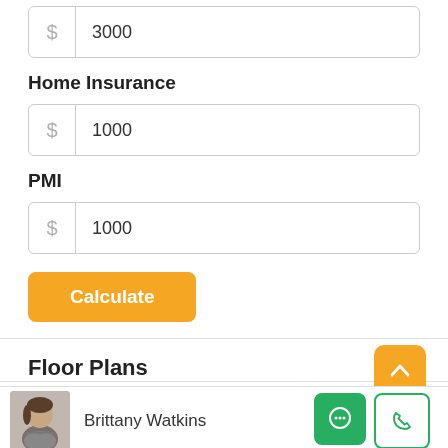$ 3000
Home Insurance
$ 1000
PMI
$ 1000
Calculate
Floor Plans
Brittany Watkins